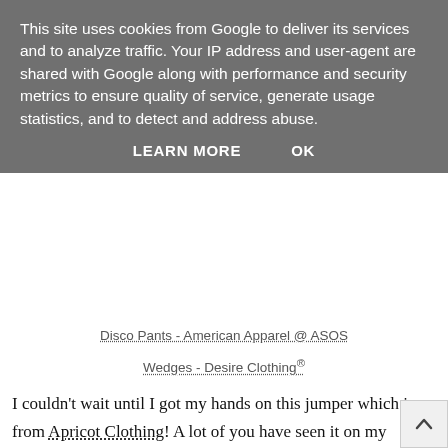This site uses cookies from Google to deliver its services and to analyze traffic. Your IP address and user-agent are shared with Google along with performance and security metrics to ensure quality of service, generate usage statistics, and to detect and address abuse.
LEARN MORE   OK
Disco Pants - American Apparel @ ASOS
Wedges - Desire Clothing®
I couldn't wait until I got my hands on this jumper which is from Apricot Clothing! A lot of you have seen it on my Instagram and twitter already as I've worn it a few times and it's super comfortable! A few people have asked me if It's from a certain retailer but this jumper a lot cheaper and from Apricot! (same style though!)
[Figure (illustration): Yellow cartoon emoji face with sad/worried expression, showing tears and hands raised, partially cut off at bottom of page]